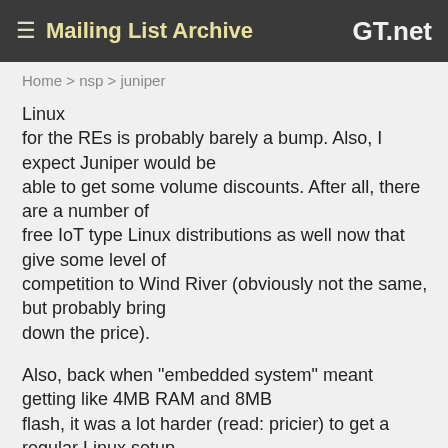≡ Mailing List Archive   GT.net
Home > nsp > juniper
Linux
for the REs is probably barely a bump. Also, I expect Juniper would be
able to get some volume discounts. After all, there are a number of free IoT type Linux distributions as well now that give some level of competition to Wind River (obviously not the same, but probably bring
down the price).
Also, back when "embedded system" meant getting like 4MB RAM and 8MB
flash, it was a lot harder (read: pricier) to get a regular Linux setup into that. Now that even phones are often coming with 6-8GB RAM and
64-256G flash (and oh yeah, running Linux ;) )... "embedded" isn't quite
the same anymore.
> ??? As for FreeBSD, they could have gone the way of upgrading